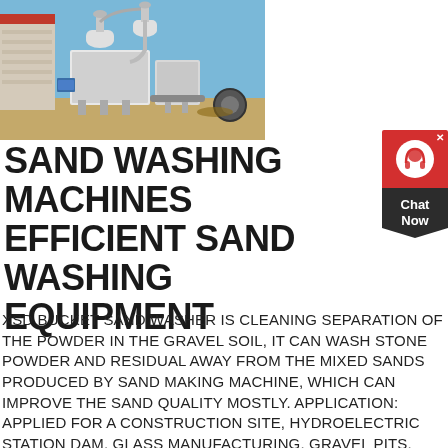[Figure (photo): Outdoor industrial sand washing equipment installation: large white industrial machines with cyclone separators and conveyor systems, set against a blue sky, next to a building with a red roof and stone walls.]
SAND WASHING MACHINES EFFICIENT SAND WASHING EQUIPMENT
XSD BUCKET SAND WASHER IS CLEANING SEPARATION OF THE POWDER IN THE GRAVEL SOIL, IT CAN WASH STONE POWDER AND RESIDUAL AWAY FROM THE MIXED SANDS PRODUCED BY SAND MAKING MACHINE, WHICH CAN IMPROVE THE SAND QUALITY MOSTLY. APPLICATION: APPLIED FOR A CONSTRUCTION SITE, HYDROELECTRIC STATION DAM, GLASS MANUFACTURING, GRAVEL PITS, MINING, BUILDING MATERIALS, TRANSPORTATION, CHEMICAL INDUSTRY, WATER...